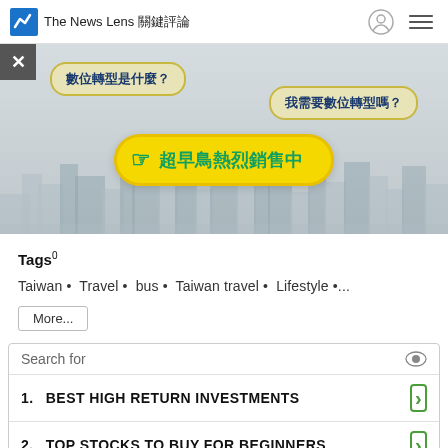The News Lens 關鍵評論
[Figure (illustration): Advertisement banner with Chinese text speech bubbles reading '數位轉型是什麼？' and '我需要數位轉型嗎？', and a yellow CTA button with hand pointer icon reading '超早鳥熱烈銷售中'. City skyline background in grey tones.]
Tags0
Taiwan • Travel • bus • Taiwan travel • Lifestyle •...
More...
Search for
1. BEST HIGH RETURN INVESTMENTS
2. TOP STOCKS TO BUY FOR BEGINNERS
Ad | Business Focus